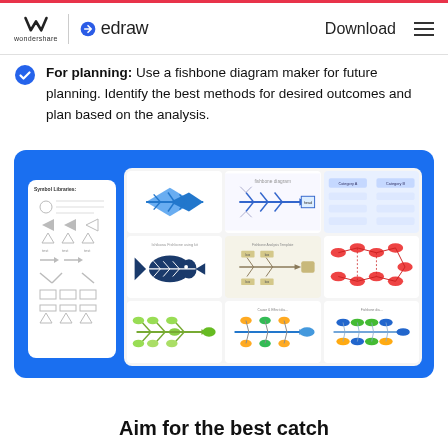wondershare | edraw — Download
For planning: Use a fishbone diagram maker for future planning. Identify the best methods for desired outcomes and plan based on the analysis.
[Figure (screenshot): Edraw fishbone diagram maker application screenshot showing a symbol libraries panel on the left and a 3x3 grid of fishbone/cause-and-effect diagram templates on a blue background.]
Aim for the best catch